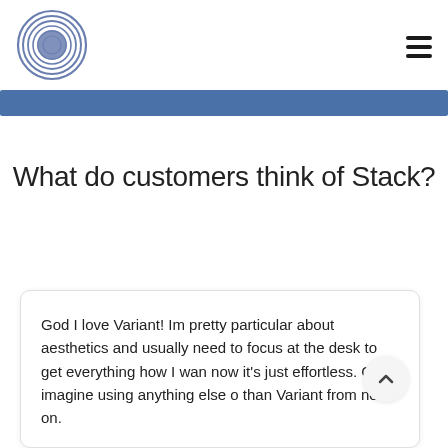[Figure (logo): Circular logo with concentric rings in blue/slate color with a solid filled center circle]
[Figure (other): Hamburger menu icon (three horizontal bars)]
[Figure (other): Blue horizontal banner bar]
What do customers think of Stack?
God I love Variant! Im pretty particular about aesthetics and usually need to focus at the desk to get everything how I want now it's just effortless. Can't imagine using anything else other than Variant from now on.